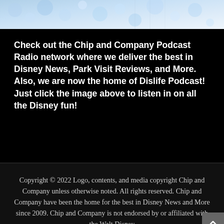[Figure (photo): Top portion of a colorful bokeh/sparkle image, light blue and white tones, partially cropped at top of page]
Check out the Chip and Company Podcast Radio network where we deliver the best in Disney News, Park Visit Reviews, and More. Also, we are now the home of Dislife Podcast! Just click the image above to listen in on all the Disney fun!
Copyright © 2022 Logo, contents, and media copyright Chip and Company unless otherwise noted. All rights reserved. Chip and Company have been the home for the best in Disney News and More since 2009. Chip and Company is not endorsed by or affiliated with the Walt Disney